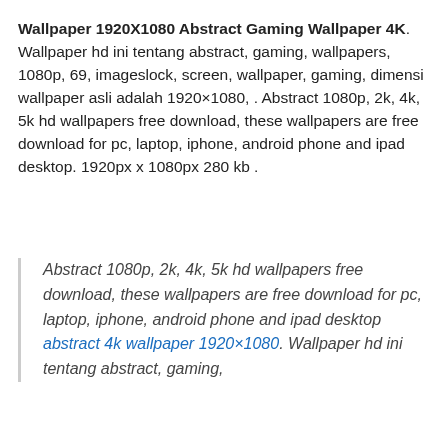Wallpaper 1920X1080 Abstract Gaming Wallpaper 4K. Wallpaper hd ini tentang abstract, gaming, wallpapers, 1080p, 69, imageslock, screen, wallpaper, gaming, dimensi wallpaper asli adalah 1920×1080, . Abstract 1080p, 2k, 4k, 5k hd wallpapers free download, these wallpapers are free download for pc, laptop, iphone, android phone and ipad desktop. 1920px x 1080px 280 kb .
Abstract 1080p, 2k, 4k, 5k hd wallpapers free download, these wallpapers are free download for pc, laptop, iphone, android phone and ipad desktop abstract 4k wallpaper 1920×1080. Wallpaper hd ini tentang abstract, gaming,